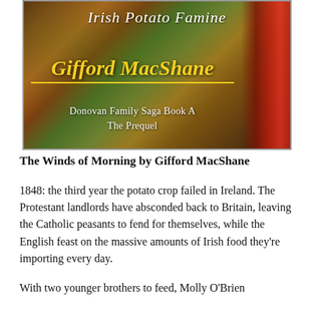[Figure (illustration): Book cover for 'Irish Potato Famine' by Gifford MacShane, showing a dark landscape with reddish-brown tones, earthy textures, and a red drape on the right. Title in italic white script at top, author name in large gold italic underlined text in center, subtitle 'Donovan Family Saga Book A / The Prequel' in white at bottom.]
The Winds of Morning by Gifford MacShane
1848: the third year the potato crop failed in Ireland. The Protestant landlords have absconded back to Britain, leaving the Catholic peasants to fend for themselves, while the English feast on the massive amounts of Irish food they're importing every day.
With two younger brothers to feed, Molly O'Brien